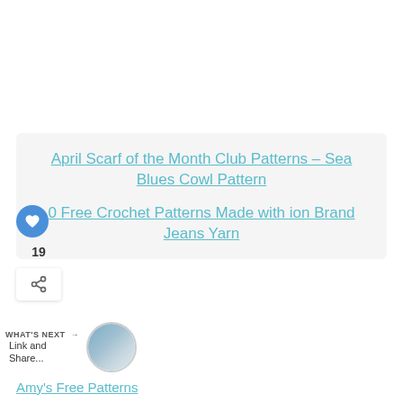April Scarf of the Month Club Patterns – Sea Blues Cowl Pattern
0 Free Crochet Patterns Made with ion Brand Jeans Yarn
19
WHAT'S NEXT → Link and Share...
Amy's Free Patterns